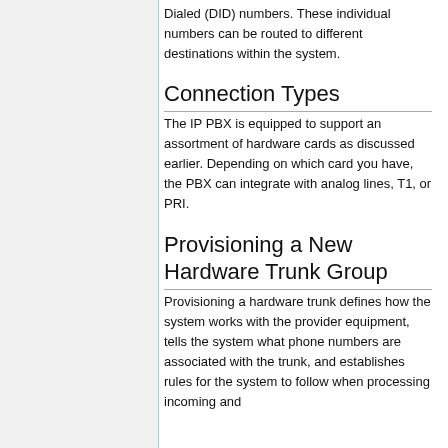Dialed (DID) numbers. These individual numbers can be routed to different destinations within the system.
Connection Types
The IP PBX is equipped to support an assortment of hardware cards as discussed earlier. Depending on which card you have, the PBX can integrate with analog lines, T1, or PRI.
Provisioning a New Hardware Trunk Group
Provisioning a hardware trunk defines how the system works with the provider equipment, tells the system what phone numbers are associated with the trunk, and establishes rules for the system to follow when processing incoming and